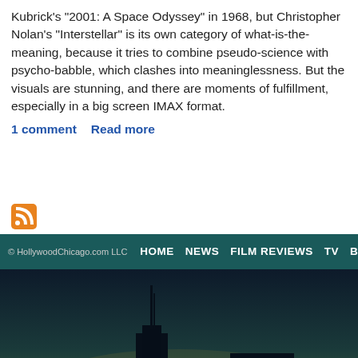Kubrick's “2001: A Space Odyssey” in 1968, but Christopher Nolan’s “Interstellar” is its own category of what-is-the-meaning, because it tries to combine pseudo-science with psycho-babble, which clashes into meaninglessness. But the visuals are stunning, and there are moments of fulfillment, especially in a big screen IMAX format.
1 comment   Read more
1   2   3   next ›   la
[Figure (logo): RSS feed orange icon]
© HollywoodChicago.com LLC   HOME   NEWS   FILM REVIEWS   TV   BLU-RAY
[Figure (illustration): Dark city skyline silhouette against a twilight sky background]